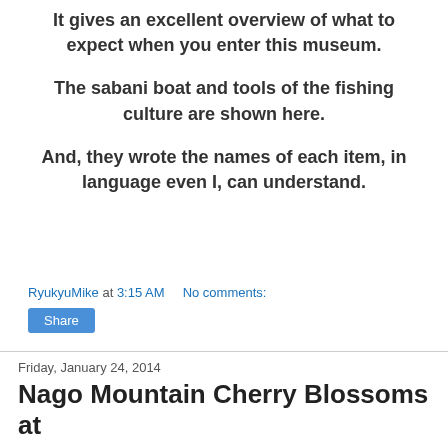It gives an excellent overview of what to expect when you enter this museum.
The sabani boat and tools of the fishing culture are shown here.
And, they wrote the names of each item, in language even I, can understand.
RyukyuMike at 3:15 AM    No comments:
Share
Friday, January 24, 2014
Nago Mountain Cherry Blossoms at